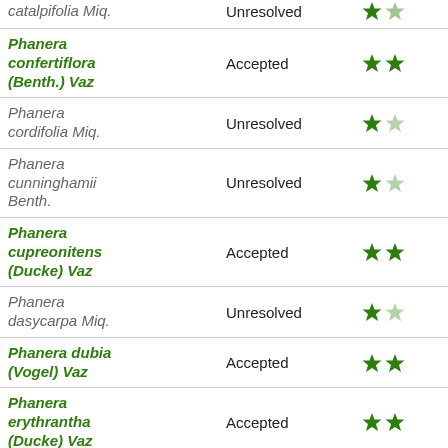| Species | Status | Rating |
| --- | --- | --- |
| catalpifolia Miq. | Unresolved | ★★ |
| Phanera confertiflora (Benth.) Vaz | Accepted | ★★ |
| Phanera cordifolia Miq. | Unresolved | ★☆ |
| Phanera cunninghamii Benth. | Unresolved | ★☆ |
| Phanera cupreonitens (Ducke) Vaz | Accepted | ★★ |
| Phanera dasycarpa Miq. | Unresolved | ★☆ |
| Phanera dubia (Vogel) Vaz | Accepted | ★★ |
| Phanera erythrantha (Ducke) Vaz | Accepted | ★★ |
| Phanera flexuosa | Accepted | ★★ |